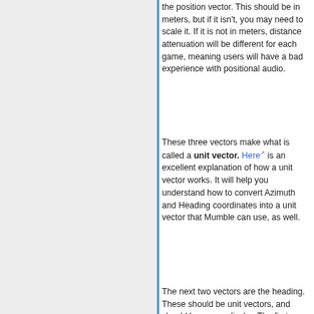the position vector. This should be in meters, but if it isn't, you may need to scale it. If it is not in meters, distance attenuation will be different for each game, meaning users will have a bad experience with positional audio.
These three vectors make what is called a unit vector. Here is an excellent explanation of how a unit vector works. It will help you understand how to convert Azimuth and Heading coordinates into a unit vector that Mumble can use, as well.
The next two vectors are the heading. These should be unit vectors, and should be perpendicular. The first vector is